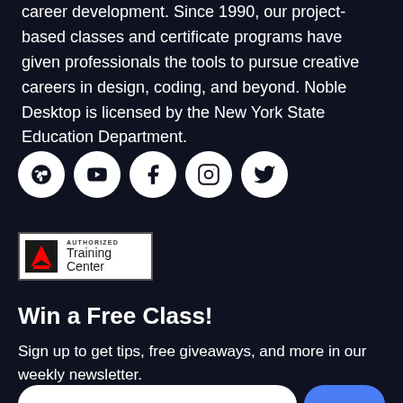career development. Since 1990, our project-based classes and certificate programs have given professionals the tools to pursue creative careers in design, coding, and beyond. Noble Desktop is licensed by the New York State Education Department.
[Figure (infographic): Row of five social media icon circles (Yelp, YouTube, Facebook, Instagram, Twitter) with white icons on white circular backgrounds against dark background]
[Figure (logo): Adobe Authorized Training Center badge with Adobe logo on left and text 'AUTHORIZED Training Center' on right, white background with border]
Win a Free Class!
Sign up to get tips, free giveaways, and more in our weekly newsletter.